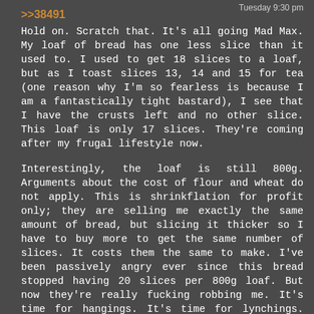Tuesday 9:30 pm
>>38491
Hold on. Scratch that. It's all going Mad Max. My loaf of bread has one less slice than it used to. I used to get 18 slices to a loaf, but as I toast slices 13, 14 and 15 for tea (one reason why I'm so fearless is because I am a fantastically tight bastard), I see that I have the crusts left and no other slice. This loaf is only 17 slices. They're coming after my frugal lifestyle now.

Interestingly, the loaf is still 800g. Arguments about the cost of flour and wheat do not apply. This is shrinkflation for profit only; they are selling me exactly the same amount of bread, but slicing it thicker so I have to buy more to get the same number of slices. It costs them the same to make. I've been passively angry ever since this bread stopped having 20 slices per 800g loaf. But now they're really fucking robbing me. It's time for hangings. It's time for lynchings. Fuck these thieving bastards. I